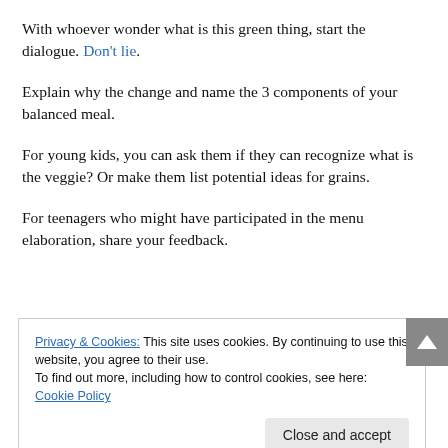With whoever wonder what is this green thing, start the dialogue. Don't lie.
Explain why the change and name the 3 components of your balanced meal.
For young kids, you can ask them if they can recognize what is the veggie? Or make them list potential ideas for grains.
For teenagers who might have participated in the menu elaboration, share your feedback.
Privacy & Cookies: This site uses cookies. By continuing to use this website, you agree to their use.
To find out more, including how to control cookies, see here: Cookie Policy
Make it a family matter. All family members can